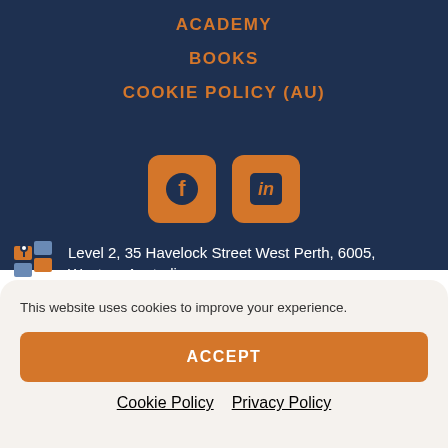ACADEMY
BOOKS
COOKIE POLICY (AU)
[Figure (logo): Facebook icon button (orange rounded square with Facebook 'f' logo in dark blue)]
[Figure (logo): LinkedIn icon button (orange rounded square with LinkedIn 'in' logo in dark blue)]
Level 2, 35 Havelock Street West Perth, 6005, Western Australia
This website uses cookies to improve your experience.
ACCEPT
Cookie Policy   Privacy Policy